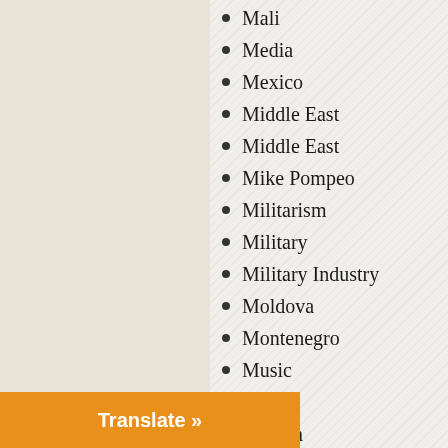Mali
Media
Mexico
Middle East
Middle East
Mike Pompeo
Militarism
Military
Military Industry
Moldova
Montenegro
Music
NATO
Nazism
New Zealand
New Zealand
News Analysis
Nigeria
Nigeria
North Korea